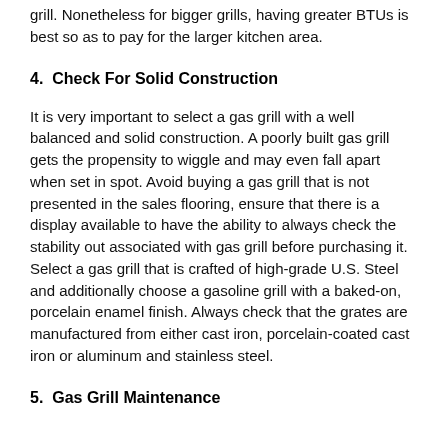grill. Nonetheless for bigger grills, having greater BTUs is best so as to pay for the larger kitchen area.
4.  Check For Solid Construction
It is very important to select a gas grill with a well balanced and solid construction. A poorly built gas grill gets the propensity to wiggle and may even fall apart when set in spot. Avoid buying a gas grill that is not presented in the sales flooring, ensure that there is a display available to have the ability to always check the stability out associated with gas grill before purchasing it. Select a gas grill that is crafted of high-grade U.S. Steel and additionally choose a gasoline grill with a baked-on, porcelain enamel finish. Always check that the grates are manufactured from either cast iron, porcelain-coated cast iron or aluminum and stainless steel.
5.  Gas Grill Maintenance